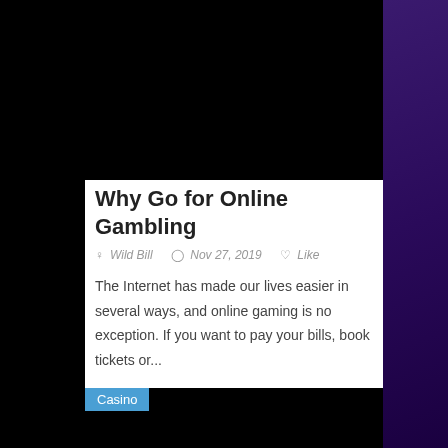[Figure (photo): Black image placeholder at top of article card]
Why Go for Online Gambling
Wild Bill  Nov 27, 2019  Like
The Internet has made our lives easier in several ways, and online gaming is no exception. If you want to pay your bills, book tickets or...
[Figure (photo): Black image placeholder at bottom with Casino badge overlay]